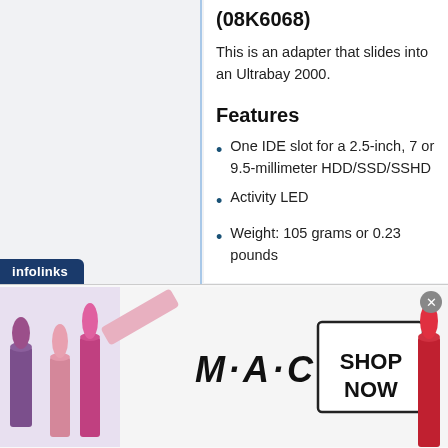(08K6068)
This is an adapter that slides into an Ultrabay 2000.
Features
One IDE slot for a 2.5-inch, 7 or 9.5-millimeter HDD/SSD/SSHD
Activity LED
Weight: 105 grams or 0.23 pounds
[Figure (photo): Product photo of a hard drive adapter in the top-right corner]
[Figure (photo): MAC cosmetics advertisement banner showing lipsticks in purple, pink, and red colors with MAC logo and SHOP NOW button. Infolinks tab visible at top-left of banner.]